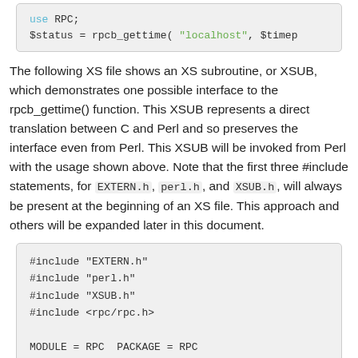[Figure (screenshot): Code block showing: use RPC; and $status = rpcb_gettime( "localhost", $timep]
The following XS file shows an XS subroutine, or XSUB, which demonstrates one possible interface to the rpcb_gettime() function. This XSUB represents a direct translation between C and Perl and so preserves the interface even from Perl. This XSUB will be invoked from Perl with the usage shown above. Note that the first three #include statements, for EXTERN.h, perl.h, and XSUB.h, will always be present at the beginning of an XS file. This approach and others will be expanded later in this document.
[Figure (screenshot): Code block showing: #include "EXTERN.h", #include "perl.h", #include "XSUB.h", #include <rpc/rpc.h>, MODULE = RPC  PACKAGE = RPC, bool_t]